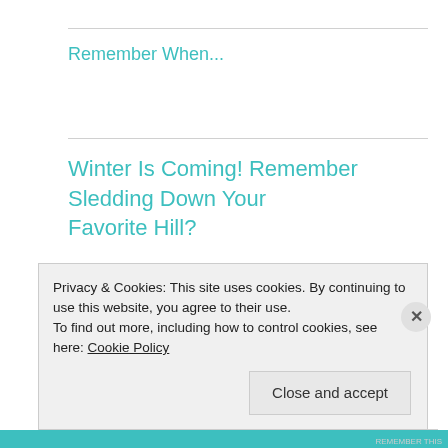Remember When...
Winter Is Coming! Remember Sledding Down Your Favorite Hill?
January 2012
| M | T | W | T | F | S | S |
| --- | --- | --- | --- | --- | --- | --- |
|  |  |  |  |  |  | 1 |
| 2 | 3 | 4 | 5 | 6 | 7 | 8 |
Privacy & Cookies: This site uses cookies. By continuing to use this website, you agree to their use.
To find out more, including how to control cookies, see here: Cookie Policy
Close and accept